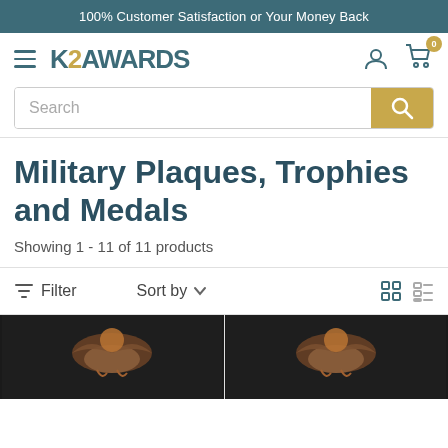100% Customer Satisfaction or Your Money Back
[Figure (logo): K2 Awards logo with hamburger menu, user icon, and cart icon with badge showing 0]
[Figure (screenshot): Search bar with magnifying glass button]
Military Plaques, Trophies and Medals
Showing 1 - 11 of 11 products
Filter   Sort by ∨
[Figure (photo): Two product photos showing military plaques/trophies with bronze eagle detail on dark background]